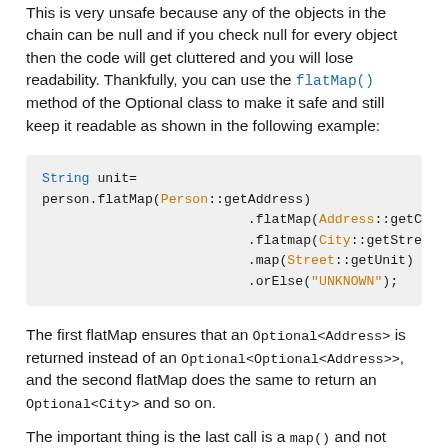This is very unsafe because any of the objects in the chain can be null and if you check null for every object then the code will get cluttered and you will lose readability. Thankfully, you can use the flatMap() method of the Optional class to make it safe and still keep it readable as shown in the following example:
[Figure (screenshot): Code block showing: String unit= person.flatMap(Person::getAddress).flatMap(Address::getCity).flatmap(City::getStreet).map(Street::getUnit).orElse("UNKNOWN");]
The first flatMap ensures that an Optional<Address> is returned instead of an Optional<Optional<Address>>, and the second flatMap does the same to return an Optional<City> and so on.
The important thing is the last call is a map() and not flatMap() because getUnit() returns a string rather